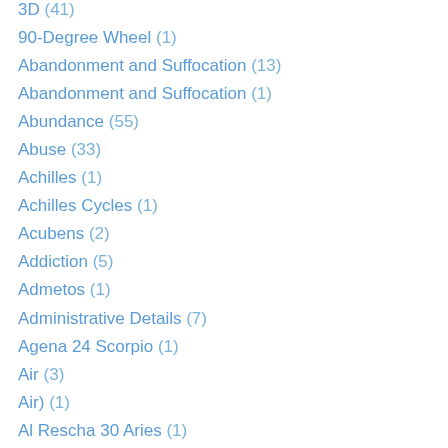3D (41)
90-Degree Wheel (1)
Abandonment and Suffocation (13)
Abandonment and Suffocation (1)
Abundance (55)
Abuse (33)
Achilles (1)
Achilles Cycles (1)
Acubens (2)
Addiction (5)
Admetos (1)
Administrative Details (7)
Agena 24 Scorpio (1)
Air (3)
Air) (1)
Al Rescha 30 Aries (1)
Aldebaran (6)
Alderamin 13 Aries (1)
Aletheia (26)
Aletheia Cycles (4)